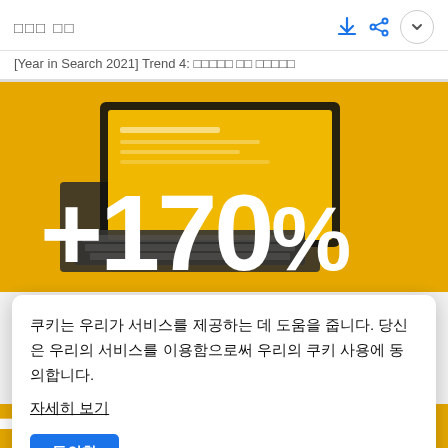□□□ □□
[Year in Search 2021] Trend 4: □□□□□ □□ □□□□□
[Figure (photo): Laptop on yellow/golden background with large white text '+170%' overlaid]
쿠키는 우리가 서비스를 제공하는 데 도움을 줍니다. 당신은 우리의 서비스를 이용함으로써 우리의 쿠키 사용에 동의합니다.
자세히 보기
동의함